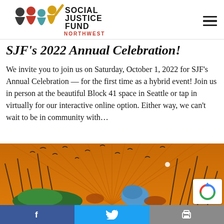[Figure (logo): Social Justice Fund Northwest logo with four silhouetted figures in black, red, teal, and yellow, alongside stylized text reading 'Social Justice Fund Northwest']
SJF's 2022 Annual Celebration!
We invite you to join us on Saturday, October 1, 2022 for SJF's Annual Celebration — for the first time as a hybrid event! Join us in person at the beautiful Block 41 space in Seattle or tap in virtually for our interactive online option. Either way, we can't wait to be in community with…
[Figure (illustration): Colorful illustration with orange background showing silhouetted plants, birds in flight, and a figure with blue hair and green foliage, partially cut off at bottom]
Facebook share | Twitter share | Print